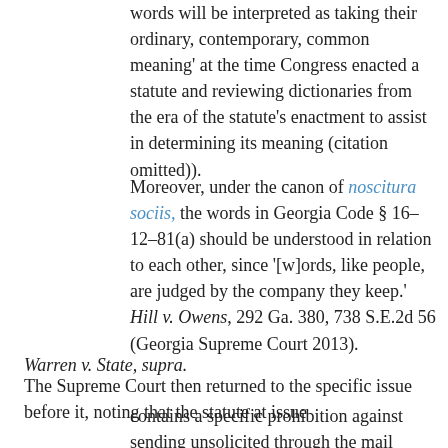words will be interpreted as taking their ordinary, contemporary, common meaning' at the time Congress enacted a statute and reviewing dictionaries from the era of the statute's enactment to assist in determining its meaning (citation omitted)).
Moreover, under the canon of noscitura sociis, the words in Georgia Code § 16–12–81(a) should be understood in relation to each other, since '[w]ords, like people, are judged by the company they keep.'  Hill v. Owens, 292 Ga. 380, 738 S.E.2d 56 (Georgia Supreme Court 2013).
Warren v. State, supra.
The Supreme Court then returned to the specific issue before it, noting that the statute at issue
contains a specific prohibition against sending unsolicited through the mail material depicting nudity or sexual conduct without the required notice, followed by a more general prohibition against 'otherwise unsolicited caus[ing] to be delivered material depicting nudity or sexual